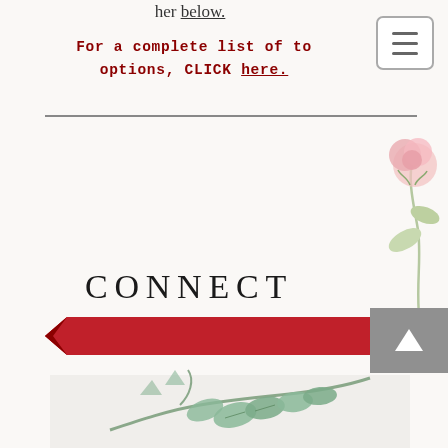her below.
For a complete list of to options, CLICK here.
[Figure (illustration): Pink rose botanical illustration in top right corner]
CONNECT
[Figure (illustration): Red banner/ribbon graphic with arrow notch on left]
[Figure (illustration): Botanical illustration of green leaves and branches at bottom center]